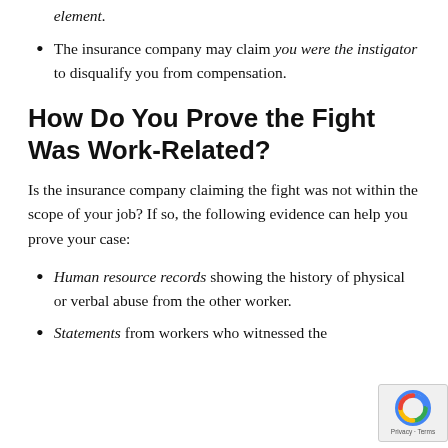element.
The insurance company may claim you were the instigator to disqualify you from compensation.
How Do You Prove the Fight Was Work-Related?
Is the insurance company claiming the fight was not within the scope of your job? If so, the following evidence can help you prove your case:
Human resource records showing the history of physical or verbal abuse from the other worker.
Statements from workers who witnessed the